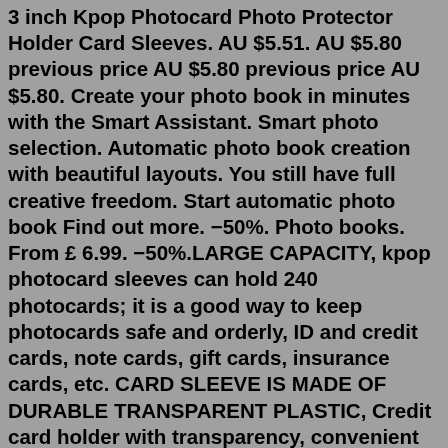3 inch Kpop Photocard Photo Protector Holder Card Sleeves. AU $5.51. AU $5.80 previous price AU $5.80 previous price AU $5.80. Create your photo book in minutes with the Smart Assistant. Smart photo selection. Automatic photo book creation with beautiful layouts. You still have full creative freedom. Start automatic photo book Find out more. −50%. Photo books. From £ 6.99. −50%.LARGE CAPACITY, kpop photocard sleeves can hold 240 photocards; it is a good way to keep photocards safe and orderly, ID and credit cards, note cards, gift cards, insurance cards, etc. CARD SLEEVE IS MADE OF DURABLE TRANSPARENT PLASTIC, Credit card holder with transparency, convenient and fast to find the card you need, strong and durable. PHOTOCARDS. korean. Japanese. thai. preorder. BROADCAST. Con tecnología de Crea tu propio sitio web único con plantillas personalizables. Empieza ahora ...Geekdo, BoardGameGeek, the Geekdo logo, and the BoardGameGeek logo are trademarks of BoardGameGeek, LLC.Holographic star photocard